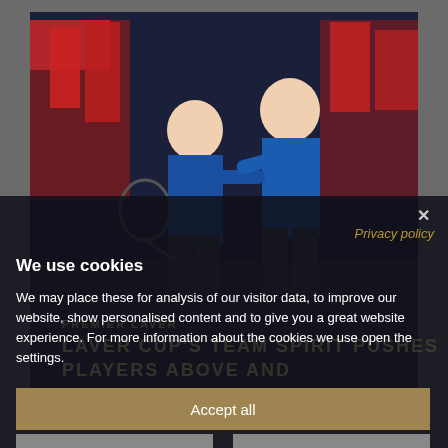[Figure (photo): Two tennis players in blue shirts celebrating on a tennis court, with team members in red jackets visible in the background. One player holds a tennis racket. The setting appears to be an indoor arena during what looks like a Laver Cup or similar team tennis event.]
x
Privacy policy
We use cookies
We may place these for analysis of our visitor data, to improve our website, show personalised content and to give you a great website experience. For more information about the cookies we use open the settings.
Accept all
Deny
No, adjust